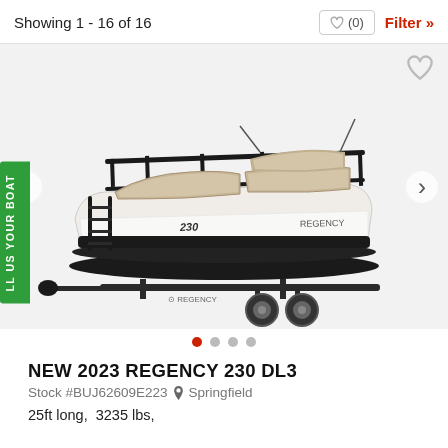Showing 1 - 16 of 16
[Figure (photo): 2023 Regency 230 DL3 pontoon boat on a trailer, white hull with black trim and tan/beige seating, product photo on white background]
NEW 2023 REGENCY 230 DL3
Stock #BUJ62609E223  Springfield
25ft long,  3235 lbs,